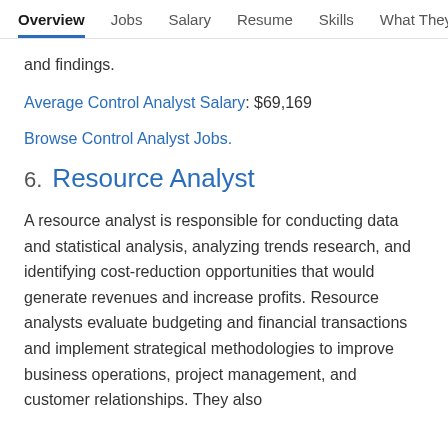Overview  Jobs  Salary  Resume  Skills  What They >
and findings.
Average Control Analyst Salary: $69,169
Browse Control Analyst Jobs.
6. Resource Analyst
A resource analyst is responsible for conducting data and statistical analysis, analyzing trends research, and identifying cost-reduction opportunities that would generate revenues and increase profits. Resource analysts evaluate budgeting and financial transactions and implement strategical methodologies to improve business operations, project management, and customer relationships. They also